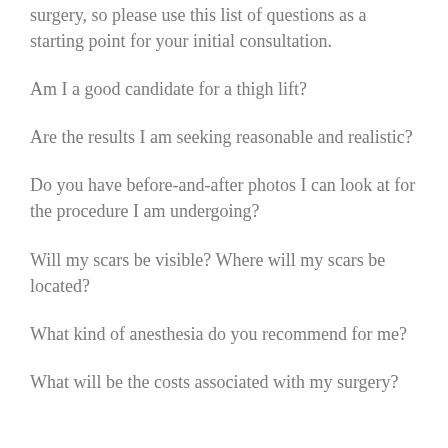surgery, so please use this list of questions as a starting point for your initial consultation.
Am I a good candidate for a thigh lift?
Are the results I am seeking reasonable and realistic?
Do you have before-and-after photos I can look at for the procedure I am undergoing?
Will my scars be visible? Where will my scars be located?
What kind of anesthesia do you recommend for me?
What will be the costs associated with my surgery?